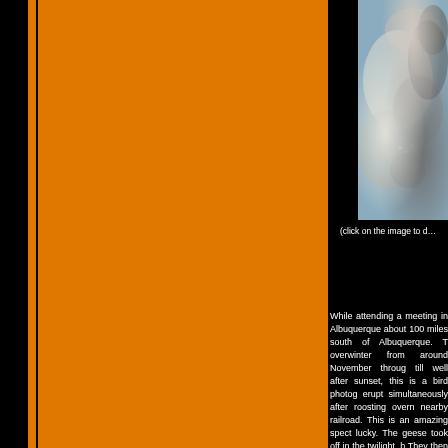[Figure (photo): Blurred wildlife/bird photograph with blue-grey background, partially visible at top right of page]
(click on the image to d…
While attending a meeting in Albuquerque about 100 miles south of Albuquerque. T overwinter from around November throug till well after sunset, this is a bird photog erupt simultaneously after roosting overn nearby railroad. This is an amazing spect lucky. The geese took off in the twilight, b They then stayed there, contentedly bobb else I was positioned along the bank, ar but a few of the geese at the edges of airborne. Everything happened so fast th servo AF, and filled up the buffer with a b